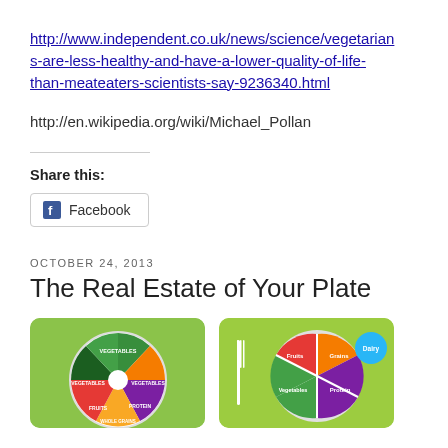http://www.independent.co.uk/news/science/vegetarians-are-less-healthy-and-have-a-lower-quality-of-life-than-meateaters-scientists-say-9236340.html
http://en.wikipedia.org/wiki/Michael_Pollan
Share this:
Facebook
OCTOBER 24, 2013
The Real Estate of Your Plate
[Figure (infographic): Two food plate infographic images side by side on green backgrounds showing food groups including Fruits, Grains, Vegetables, Protein, Dairy sections in a pie/plate format]